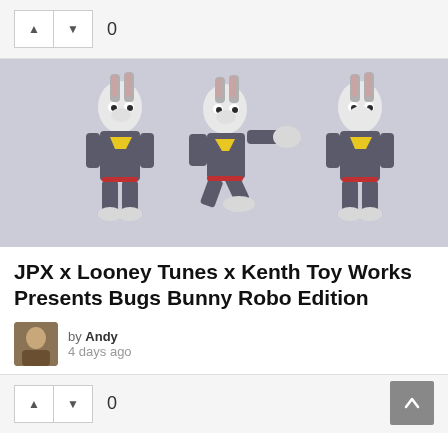▲ ▼ 0
[Figure (photo): Three Bugs Bunny robot figurines in gray and red suits with yellow chest emblem, shown in different poses against a light background.]
JPX x Looney Tunes x Kenth Toy Works Presents Bugs Bunny Robo Edition
by Andy
4 days ago
▲ ▼ 0